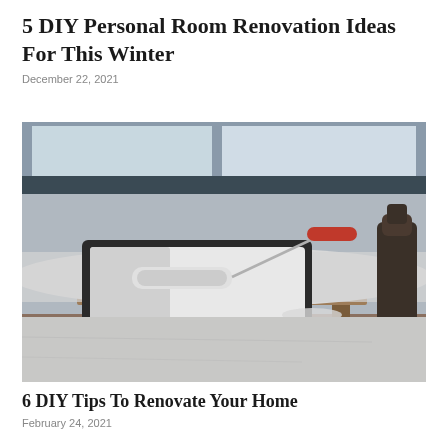5 DIY Personal Room Renovation Ideas For This Winter
December 22, 2021
[Figure (photo): A paint roller tray filled with white paint sitting on a wooden table, with a red-handled paint roller resting in the tray. A dark bottle is visible in the background near a window.]
6 DIY Tips To Renovate Your Home
February 24, 2021